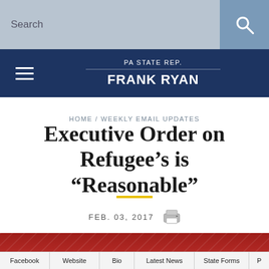Search
PA STATE REP. FRANK RYAN
HOME / WEEKLY EMAIL UPDATES
Executive Order on Refugee’s is “Reasonable”
FEB. 03, 2017
[Figure (photo): Red and white decorative banner with star-and-stripe pattern]
[Figure (photo): State Representative Frank Ryan official letterhead banner with Pennsylvania House seal, showing STATE REPRESENTATIVE FRANK RYAN serving the 101st Legislative District]
Facebook | Website | Bio | Latest News | State Forms | P